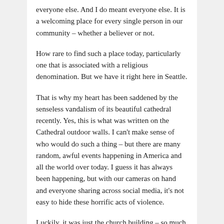everyone else. And I do meant everyone else. It is a welcoming place for every single person in our community – whether a believer or not.
How rare to find such a place today, particularly one that is associated with a religious denomination. But we have it right here in Seattle.
That is why my heart has been saddened by the senseless vandalism of its beautiful cathedral recently. Yes, this is what was written on the Cathedral outdoor walls. I can't make sense of who would do such a thing – but there are many random, awful events happening in America and all the world over today. I guess it has always been happening, but with our cameras on hand and everyone sharing across social media, it's not easy to hide these horrific acts of violence.
Luckily, it was just the church building – so much worse has happened in churches across America recently.
What do you make of it all? Does it stress you out to see